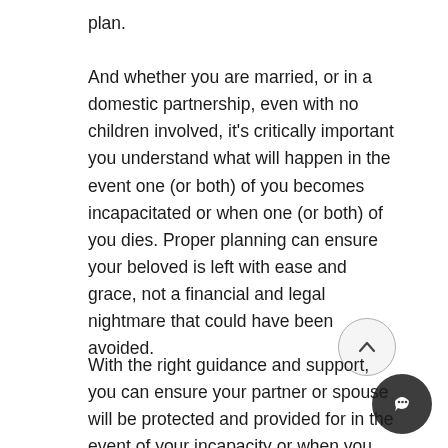plan.
And whether you are married, or in a domestic partnership, even with no children involved, it’s critically important you understand what will happen in the event one (or both) of you becomes incapacitated or when one (or both) of you dies. Proper planning can ensure your beloved is left with ease and grace, not a financial and legal nightmare that could have been avoided.
With the right guidance and support, you can ensure your partner or spouse will be protected and provided for in the event of your incapacity or when you die, while preventing your plan from